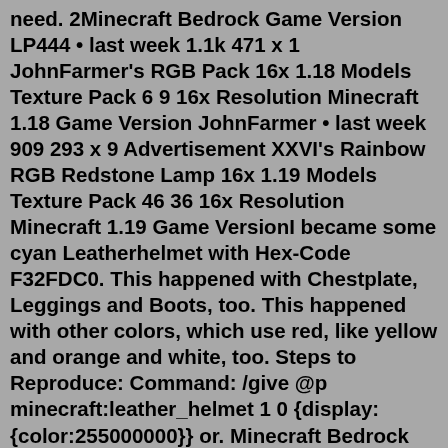need. 2Minecraft Bedrock Game Version LP444 • last week 1.1k 471 x 1 JohnFarmer's RGB Pack 16x 1.18 Models Texture Pack 6 9 16x Resolution Minecraft 1.18 Game Version JohnFarmer • last week 909 293 x 9 Advertisement XXVI's Rainbow RGB Redstone Lamp 16x 1.19 Models Texture Pack 46 36 16x Resolution Minecraft 1.19 Game VersionI became some cyan Leatherhelmet with Hex-Code F32FDC0. This happened with Chestplate, Leggings and Boots, too. This happened with other colors, which use red, like yellow and orange and white, too. Steps to Reproduce: Command: /give @p minecraft:leather_helmet 1 0 {display:{color:255000000}} or. Minecraft Bedrock Game Version LP444 • last week 1.1k 471 x 1 JohnFarmer's RGB Pack 16x 1.18 Models Texture Pack 6 9 16x Resolution Minecraft 1.18 Game Version JohnFarmer • last week 909 293 x 9 Advertisement XXVI's Rainbow RGB Redstone Lamp 16x 1.19 Models Texture Pack 46 36 16x Resolution Minecraft 1.19 Game VersionMinecraft Cyan Color Palette